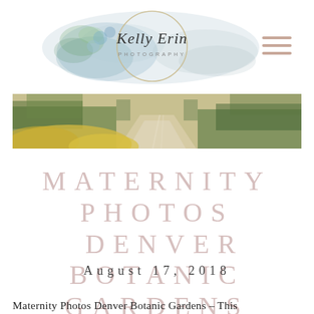[Figure (logo): Kelly Erin Photography logo — script text inside a circular emblem with watercolor floral/botanical illustration in blue-green tones]
[Figure (photo): Wide hero photograph of a garden path at Denver Botanic Gardens, with yellow foliage in foreground and green hedges lining a stone walkway]
MATERNITY PHOTOS DENVER BOTANIC GARDENS
August 17, 2018
Maternity Photos Denver Botanic Gardens – This